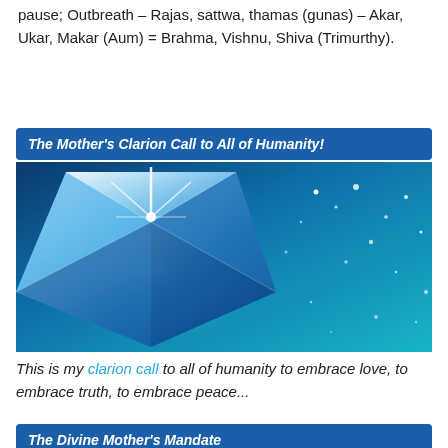pause; Outbreath – Rajas, sattwa, thamas (gunas) – Akar, Ukar, Makar (Aum) = Brahma, Vishnu, Shiva (Trimurthy).
The Mother's Clarion Call to All of Humanity!
[Figure (photo): A sparkling diamond gemstone on the left side against a glowing blue background with light particles and sparkles scattered across the right side.]
This is my clarion call to all of humanity to embrace love, to embrace truth, to embrace peace...
The Divine Mother's Mandate